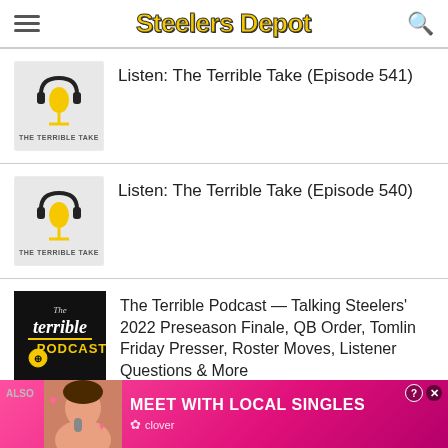Steelers Depot
Listen: The Terrible Take (Episode 541)
Listen: The Terrible Take (Episode 540)
The Terrible Podcast — Talking Steelers' 2022 Preseason Finale, QB Order, Tomlin Friday Presser, Roster Moves, Listener Questions & More
[Figure (screenshot): Advertisement banner at bottom: 'MEET WITH LOCAL SINGLES' from Clover app, pink gradient background with woman's face]